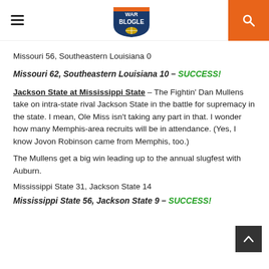War Blogle
Missouri 56, Southeastern Louisiana 0
Missouri 62, Southeastern Louisiana 10 – SUCCESS!
Jackson State at Mississippi State – The Fightin' Dan Mullens take on intra-state rival Jackson State in the battle for supremacy in the state. I mean, Ole Miss isn't taking any part in that. I wonder how many Memphis-area recruits will be in attendance. (Yes, I know Jovon Robinson came from Memphis, too.)
The Mullens get a big win leading up to the annual slugfest with Auburn.
Mississippi State 31, Jackson State 14
Mississippi State 56, Jackson State 9 – SUCCESS!